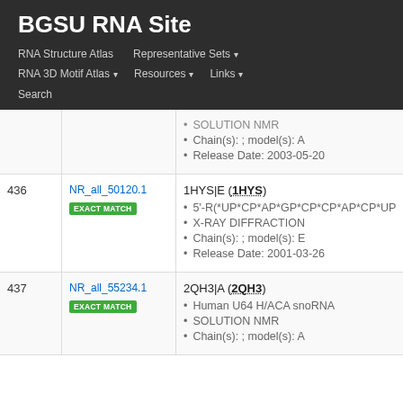BGSU RNA Site
RNA Structure Atlas | Representative Sets ▾ | RNA 3D Motif Atlas ▾ | Resources ▾ | Links ▾ | Search
| # | ID | Description |
| --- | --- | --- |
|  |  | SOLUTION NMR
Chain(s): ; model(s): A
Release Date: 2003-05-20 |
| 436 | NR_all_50120.1 EXACT MATCH | 1HYS|E (1HYS)
5'-R(*UP*CP*AP*GP*CP*CP*AP*CP*UP*UP...
X-RAY DIFFRACTION
Chain(s): ; model(s): E
Release Date: 2001-03-26 |
| 437 | NR_all_55234.1 EXACT MATCH | 2QH3|A (2QH3)
Human U64 H/ACA snoRNA
SOLUTION NMR
Chain(s): ; model(s): A |